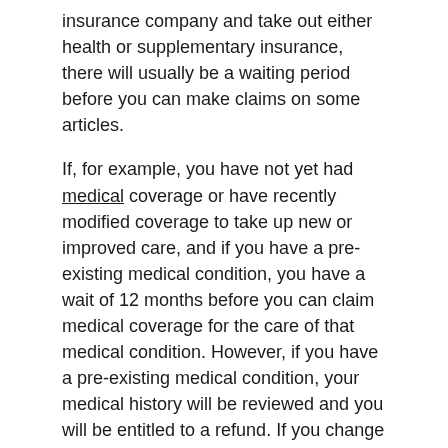insurance company and take out either health or supplementary insurance, there will usually be a waiting period before you can make claims on some articles.
If, for example, you have not yet had medical coverage or have recently modified coverage to take up new or improved care, and if you have a pre-existing medical condition, you have a wait of 12 months before you can claim medical coverage for the care of that medical condition. However, if you have a pre-existing medical condition, your medical history will be reviewed and you will be entitled to a refund. If you change to a similar health insurance coverage you probably no longer have to plan for wait times that you have already used.
Inform yourself about the wait times for the different kinds of treatments. Please note that you have a wait of 12 months before you can use your health insurance to treat an already diagnosed illness. Shall I simply take out the best health insurance? A few group kind to get the extremum or commodity defender, but that doesn't always average that they get measure for medium of exchange.
A little more to pay for much more coverage might be